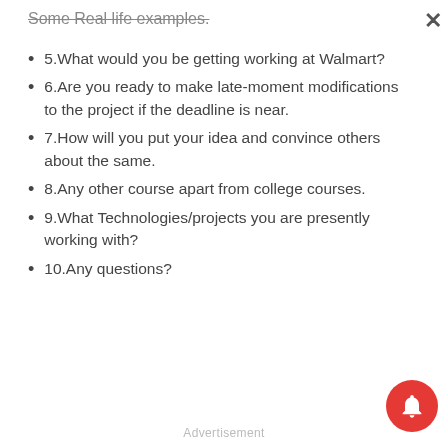Some Real life examples.
5.What would you be getting working at Walmart?
6.Are you ready to make late-moment modifications to the project if the deadline is near.
7.How will you put your idea and convince others about the same.
8.Any other course apart from college courses.
9.What Technologies/projects you are presently working with?
10.Any questions?
Advertisement